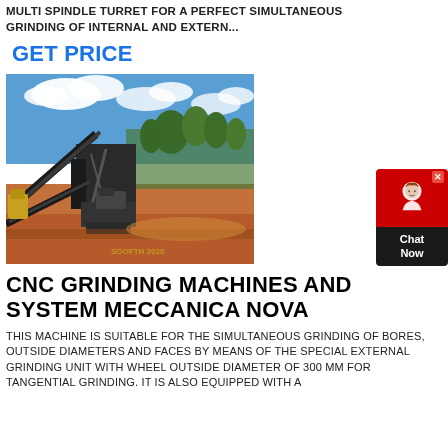MULTI SPINDLE TURRET FOR A PERFECT SIMULTANEOUS GRINDING OF INTERNAL AND EXTERN...
GET PRICE
[Figure (photo): Outdoor photograph of an industrial crushing/grinding plant facility with conveyor belts, heavy machinery, red/orange soil ground, palm trees in background, blue sky with clouds. Watermark text visible at bottom.]
CNC GRINDING MACHINES AND SYSTEM MECCANICA NOVA
THIS MACHINE IS SUITABLE FOR THE SIMULTANEOUS GRINDING OF BORES, OUTSIDE DIAMETERS AND FACES BY MEANS OF THE SPECIAL EXTERNAL GRINDING UNIT WITH WHEEL OUTSIDE DIAMETER OF 300 MM FOR TANGENTIAL GRINDING. IT IS ALSO EQUIPPED WITH A